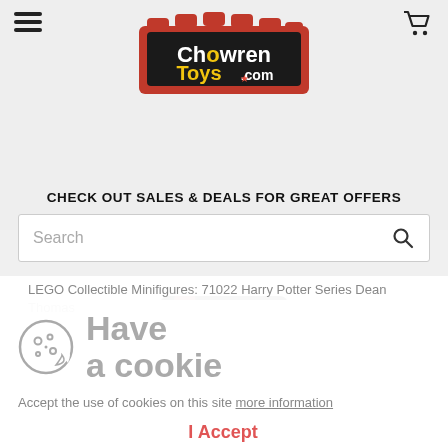ChowrenToys.com
CHECK OUT SALES & DEALS FOR GREAT OFFERS
Search
[Figure (photo): LEGO minifigure in Gryffindor robes, partial view showing torso and legs]
LEGO Collectible Minifigures: 71022 Harry Potter Series Dean Thomas
Have a cookie
Accept the use of cookies on this site more information
I Accept